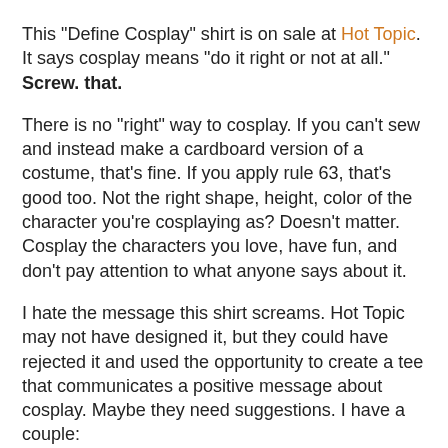This "Define Cosplay" shirt is on sale at Hot Topic. It says cosplay means "do it right or not at all."
Screw. that.
There is no "right" way to cosplay. If you can't sew and instead make a cardboard version of a costume, that's fine. If you apply rule 63, that's good too. Not the right shape, height, color of the character you're cosplaying as? Doesn't matter. Cosplay the characters you love, have fun, and don't pay attention to what anyone says about it.
I hate the message this shirt screams. Hot Topic may not have designed it, but they could have rejected it and used the opportunity to create a tee that communicates a positive message about cosplay. Maybe they need suggestions. I have a couple:
- dress up like whomever you want, it's all right
- do it, have fun, everyone wins
It's bad enough for those of us in the community, but what kind of elitist signal is this sending to non-geeks or people